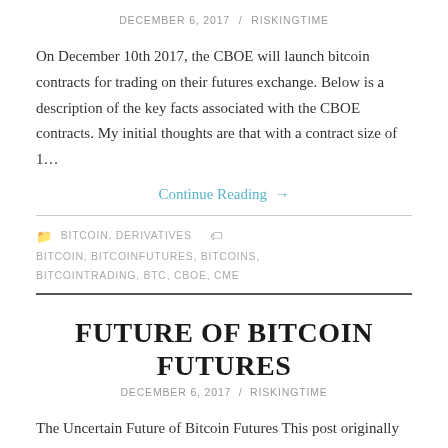DECEMBER 6, 2017 / RISKINGTIME
On December 10th 2017, the CBOE will launch bitcoin contracts for trading on their futures exchange. Below is a description of the key facts associated with the CBOE contracts. My initial thoughts are that with a contract size of 1…
Continue Reading →
BITCOIN, DERIVATIVES   BITCOIN, BITCOINFUTURES, BITCOINS, BITCOINTRADING, BTC, CBOE, CME
FUTURE OF BITCOIN FUTURES
DECEMBER 6, 2017 / RISKINGTIME
The Uncertain Future of Bitcoin Futures This post originally appeared in Money Stuff. I want you to imagine a time, in the not-too-distant